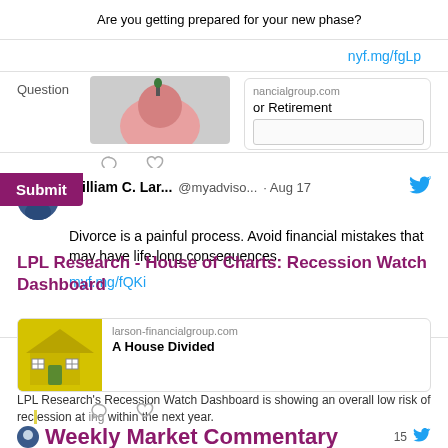Are you getting prepared for your new phase?
nyf.mg/fgLp
Question
nancialgroup.com
or Retirement
Submit
William C. Lar...  @myadvisо...  · Aug 17
Divorce is a painful process. Avoid financial mistakes that may have life-long consequences.
myf.mg/fQKi
LPL Research - House of Charts: Recession Watch Dashboard
larson-financialgroup.com
A House Divided
LPL Research's Recession Watch Dashboard is showing an overall low risk of recession at ring within the next year.
Weekly Market Commentary